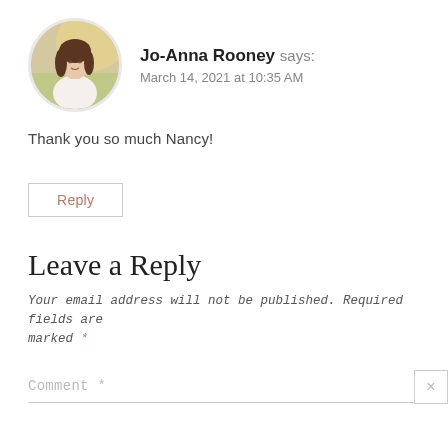[Figure (photo): Circular avatar photo of a woman with long dark hair wearing a white top, in an outdoor sunny setting]
Jo-Anna Rooney says:
March 14, 2021 at 10:35 AM
Thank you so much Nancy!
Reply
Leave a Reply
Your email address will not be published. Required fields are marked *
Comment *